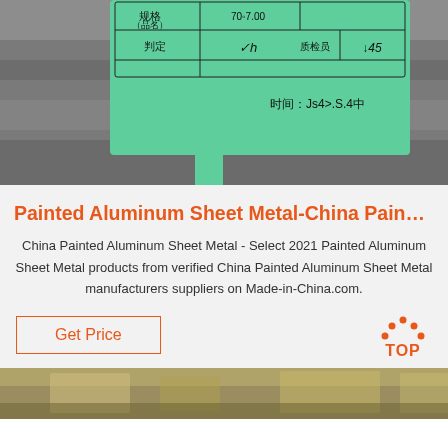[Figure (photo): Close-up photo of a green quality inspection tag attached to a metal pipe/rod, with Chinese characters for inspection fields and handwritten entries including date]
Painted Aluminum Sheet Metal-China Pain…
China Painted Aluminum Sheet Metal - Select 2021 Painted Aluminum Sheet Metal products from verified China Painted Aluminum Sheet Metal manufacturers suppliers on Made-in-China.com.
[Figure (other): Get Price button (orange border and text) and TOP logo (orange dots arc above orange TOP text)]
[Figure (photo): Partial photo of a metal/aluminum sheet manufacturing facility interior]